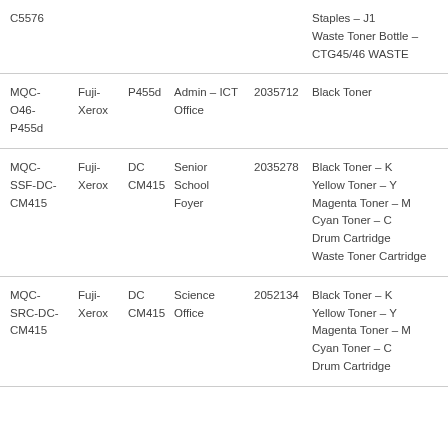| Code | Brand | Model | Location | Asset ID | Consumables |
| --- | --- | --- | --- | --- | --- |
| C5576 |  |  |  |  | Staples – J1
Waste Toner Bottle – CTG45/46 WASTE |
| MQC-O46-P455d | Fuji-Xerox | P455d | Admin – ICT Office | 2035712 | Black Toner |
| MQC-SSF-DC-CM415 | Fuji-Xerox | DC CM415 | Senior School Foyer | 2035278 | Black Toner – K
Yellow Toner – Y
Magenta Toner – M
Cyan Toner – C
Drum Cartridge
Waste Toner Cartridge |
| MQC-SRC-DC-CM415 | Fuji-Xerox | DC CM415 | Science Office | 2052134 | Black Toner – K
Yellow Toner – Y
Magenta Toner – M
Cyan Toner – C
Drum Cartridge |